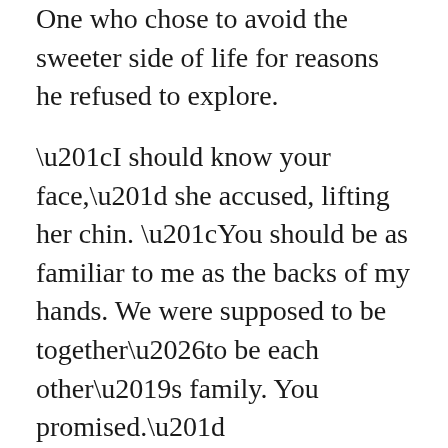One who chose to avoid the sweeter side of life for reasons he refused to explore.
“I should know your face,” she accused, lifting her chin. “You should be as familiar to me as the backs of my hands. We were supposed to be together…to be each other’s family. You promised.”
Buy Links: